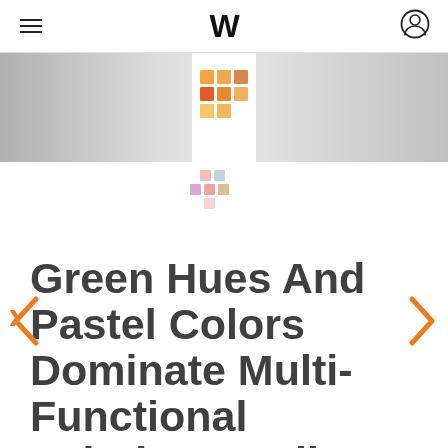W
[Figure (illustration): Hero banner with gradient background and a white panel in the center containing a 3x3 grid of colored squares in orange and peach tones]
[Figure (illustration): Small decorative grid of colored squares in pink, salmon, and peach tones]
Green Hues And Pastel Colors Dominate Multi-Functional Painting Studio By ATELIER MOZH In China